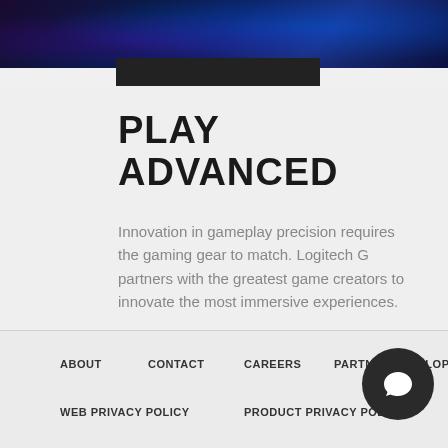[Figure (photo): Dark blue/purple gaming scene banner image at top of page]
PLAY ADVANCED
Innovation in gameplay precision requires the gaming gear to match. Logitech G partners with the greatest game creators to innovate the most immersive experiences.
MORE ON PARTNERS
ABOUT   CONTACT   CAREERS   PARTNER DEVELOPER L…   WEB PRIVACY POLICY   PRODUCT PRIVACY POLICY